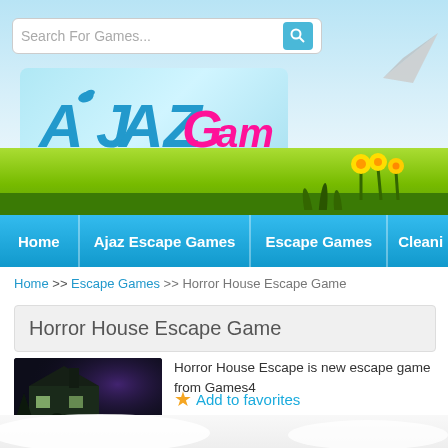[Figure (screenshot): Ajaz Games website header with sky background, search bar, logo banner, green grass strip with yellow flowers, and navigation bar with Home, Ajaz Escape Games, Escape Games, Cleaning menu items]
Search For Games...
[Figure (logo): Ajaz Games logo with blue bird and pink text on light blue background]
Home >> Escape Games >> Horror House Escape Game
Horror House Escape Game
[Figure (photo): Horror house game thumbnail showing a dark haunted house at night with a figure standing outside]
Horror House Escape is new escape game from Games4
⭐ Add to favorites